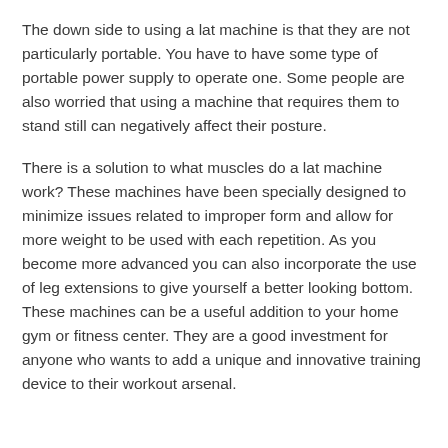The down side to using a lat machine is that they are not particularly portable. You have to have some type of portable power supply to operate one. Some people are also worried that using a machine that requires them to stand still can negatively affect their posture.
There is a solution to what muscles do a lat machine work? These machines have been specially designed to minimize issues related to improper form and allow for more weight to be used with each repetition. As you become more advanced you can also incorporate the use of leg extensions to give yourself a better looking bottom. These machines can be a useful addition to your home gym or fitness center. They are a good investment for anyone who wants to add a unique and innovative training device to their workout arsenal.
Conclusion
There are many different brands of lat pulldown machines available on the market today, including those that are manufactured by